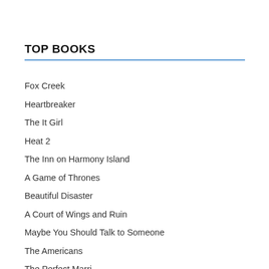TOP BOOKS
Fox Creek
Heartbreaker
The It Girl
Heat 2
The Inn on Harmony Island
A Game of Thrones
Beautiful Disaster
A Court of Wings and Ruin
Maybe You Should Talk to Someone
The Americans
The Perfect Marriage